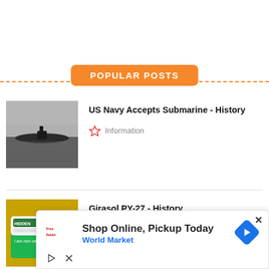POPULAR POSTS
[Figure (photo): Black and white photograph of a US Navy submarine on the water]
US Navy Accepts Submarine - History
Information
[Figure (photo): Color image of a Hidden Girasol product package with sunflowers, labeled 'i am non-verbal']
Girasol PY-27 - History
Information
Shop Online, Pickup Today
World Market